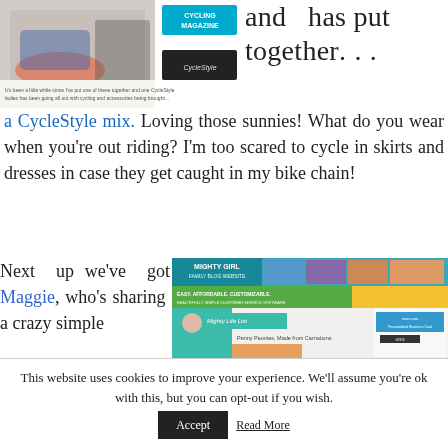[Figure (screenshot): Top-left screenshot showing shoe/cycling product images and CycleStyle magazine logo]
and has put together a CycleStyle mix. Loving those sunnies! What do you wear when you're out riding? I'm too scared to cycle in skirts and dresses in case they get caught in my bike chain!
Next up we've got Maggie, who's sharing a crazy simple
[Figure (screenshot): Screenshot of Mighty Girl website showing blog post 'Penny Peonies, Made from Carnations']
This website uses cookies to improve your experience. We'll assume you're ok with this, but you can opt-out if you wish.